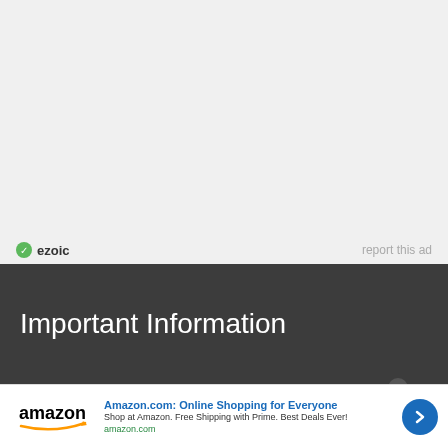[Figure (other): Gray advertisement placeholder area]
ezoic   report this ad
Important Information
[Figure (other): Amazon advertisement banner: Amazon.com: Online Shopping for Everyone. Shop at Amazon. Free Shipping with Prime. Best Deals Ever! amazon.com]